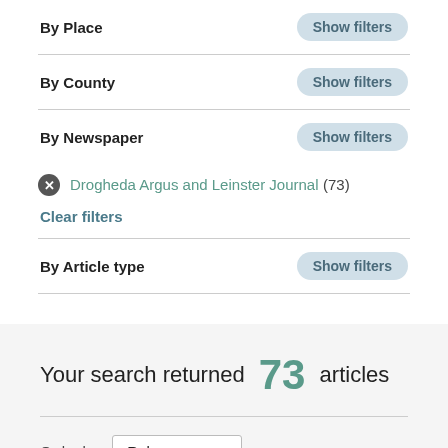By Place
By County
By Newspaper
Drogheda Argus and Leinster Journal (73)
Clear filters
By Article type
Your search returned 73 articles
Order by Relevance